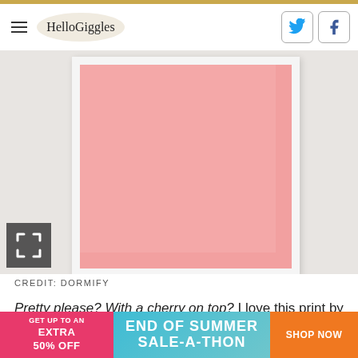HelloGiggles
[Figure (photo): Framed artwork print of pink Big Cherry candy wrappers arranged in a grid, displayed on a light gray wall background. Photograph from Dormify.]
CREDIT: DORMIFY
Pretty please? With a cherry on top? I love this print by artist Robyn Blair Davidson. It probably wouldn't surp… [millennial]
[Figure (infographic): Advertisement banner: GET UP TO AN EXTRA 50% OFF | END OF SUMMER SALE-A-THON | SHOP NOW]